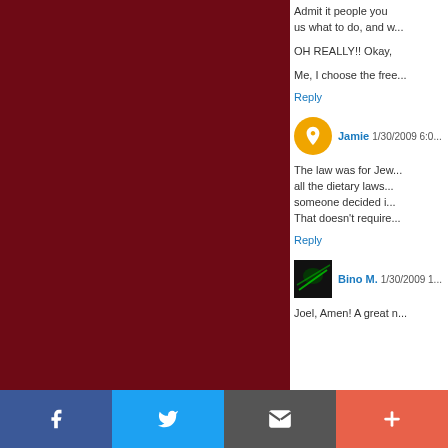[Figure (other): Dark red/maroon background panel on the left side of the page]
Admit it people you... us what to do, and w...
OH REALLY!! Okay,
Me, I choose the fre...
Reply
Jamie  1/30/2009 6:0...
The law was for Jew... all the dietary laws... someone decided i... That doesn't require...
Reply
Bino M.  1/30/2009 1...
Joel, Amen! A great n...
[Figure (other): Social sharing bar at the bottom with Facebook, Twitter, Email, and Plus buttons]